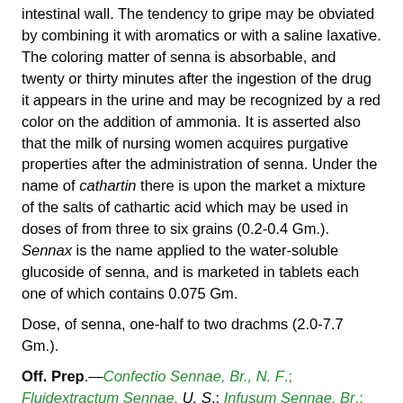intestinal wall. The tendency to gripe may be obviated by combining it with aromatics or with a saline laxative. The coloring matter of senna is absorbable, and twenty or thirty minutes after the ingestion of the drug it appears in the urine and may be recognized by a red color on the addition of ammonia. It is asserted also that the milk of nursing women acquires purgative properties after the administration of senna. Under the name of cathartin there is upon the market a mixture of the salts of cathartic acid which may be used in doses of from three to six grains (0.2-0.4 Gm.). Sennax is the name applied to the water-soluble glucoside of senna, and is marketed in tablets each one of which contains 0.075 Gm.
Dose, of senna, one-half to two drachms (2.0-7.7 Gm.).
Off. Prep.—Confectio Sennae, Br., N. F.; Fluidextractum Sennae, U. S.; Infusum Sennae, Br.; Infusum Sennae Compositum, U. S.; Pulvis Glycyrrhizae Compositus, U. S., Br.; Syrupus Sennae (from Fluidextract), U. S., Br.; Tinctura Sennae Composita, Br.; Mistura Sennae Composita (from Infusion), Br.; Syrupus Sarsaparillae Compositus (from Fluidextract), U. S.; Elixir Cascarae Sagradae Compositum (from Fluidextract), N. F.; Elixir Catharticum Compositum (from Fluidextract), N. F.; Species Laxativae, N. F.; Sennae Ficus Composita, N. F.; Sennae Senna Argumentis